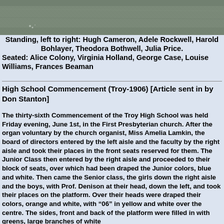[Figure (photo): Black and white photograph showing textured fabric or surface, top portion of a group photo]
Standing, left to right: Hugh Cameron, Adele Rockwell, Harold Bohlayer, Theodora Bothwell, Julia Price.
Seated: Alice Colony, Virginia Holland, George Case, Louise Williams, Frances Beaman
High School Commencement (Troy-1906) [Article sent in by Don Stanton]
The thirty-sixth Commencement of the Troy High School was held Friday evening, June 1st, in the First Presbyterian church.  After the organ voluntary by the church organist, Miss Amelia Lamkin, the board of directors entered by the left aisle and the faculty by the right aisle and took their places in the front seats reserved for them.  The Junior Class then entered by the right aisle and proceeded to their block of seats, over which had been draped the Junior colors, blue and white.  Then came the Senior class, the girls down the right aisle and the boys, with Prof. Denison at their head, down the left, and took their places on the platform.  Over their heads were draped their colors, orange and white, with “06” in yellow and white over the centre.  The sides, front and back of the platform were filled in with greens, large branches of white